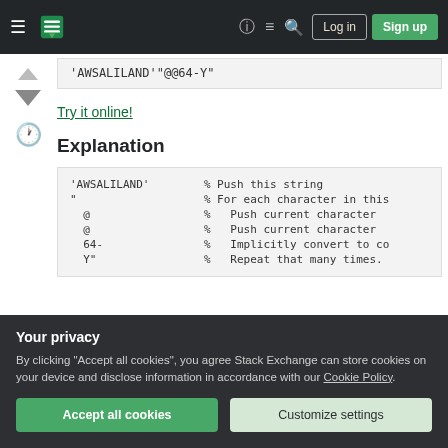Stack Exchange navigation bar with Log in and Sign up buttons
'AWSALILAND'"@@64-Y"
Try it online!
Explanation
'AWSALILAND'  % Push this string
"               % For each character in this
  @            %   Push current character
  @            %   Push current character
  64-          %   Implicitly convert to co
  Y"           %   Repeat that many times.
Your privacy
By clicking "Accept all cookies", you agree Stack Exchange can store cookies on your device and disclose information in accordance with our Cookie Policy.
Accept all cookies
Customize settings